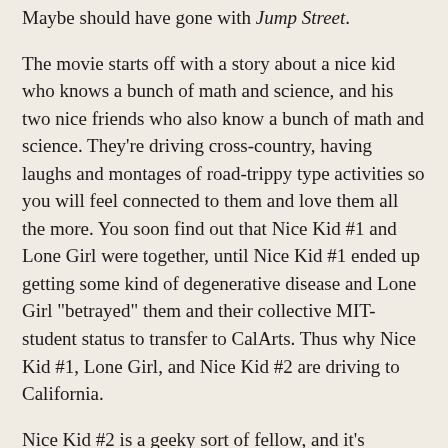Maybe should have gone with Jump Street.
The movie starts off with a story about a nice kid who knows a bunch of math and science, and his two nice friends who also know a bunch of math and science. They're driving cross-country, having laughs and montages of road-trippy type activities so you will feel connected to them and love them all the more. You soon find out that Nice Kid #1 and Lone Girl were together, until Nice Kid #1 ended up getting some kind of degenerative disease and Lone Girl "betrayed" them and their collective MIT-student status to transfer to CalArts. Thus why Nice Kid #1, Lone Girl, and Nice Kid #2 are driving to California.
Nice Kid #2 is a geeky sort of fellow, and it's revealed that he and Nice Kid #1 have been "agitated" by a hacker who tried to frame their good name at MIT last school year. The hacker, known only as NOMAD, keeps taunting them until finally the two Nice Kids lose their cool and track NOMAD's